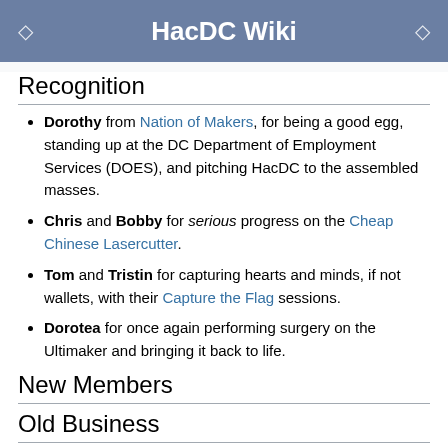HacDC Wiki
Recognition
Dorothy from Nation of Makers, for being a good egg, standing up at the DC Department of Employment Services (DOES), and pitching HacDC to the assembled masses.
Chris and Bobby for serious progress on the Cheap Chinese Lasercutter.
Tom and Tristin for capturing hearts and minds, if not wallets, with their Capture the Flag sessions.
Dorotea for once again performing surgery on the Ultimaker and bringing it back to life.
New Members
Old Business
Spring cleaning (but not gear cleaning) has begun.